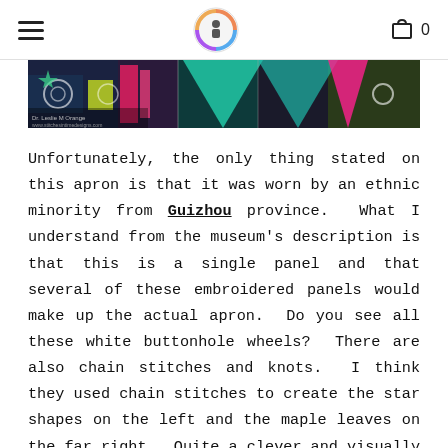Navigation header with hamburger menu, logo, and cart icon with count 0
[Figure (photo): Colorful embroidered textile panel showing geometric patterns including triangles, star shapes, and maple leaf designs in bright colors including teal, pink, yellow, and navy, with white buttonhole wheel embroidery details. Small text in lower left corner reads 'Dr. Leslie M Orange' with a website URL.]
Unfortunately, the only thing stated on this apron is that it was worn by an ethnic minority from Guizhou province. What I understand from the museum's description is that this is a single panel and that several of these embroidered panels would make up the actual apron. Do you see all these white buttonhole wheels? There are also chain stitches and knots. I think they used chain stitches to create the star shapes on the left and the maple leaves on the far right. Quite a clever and visually pleasing piece, I think.